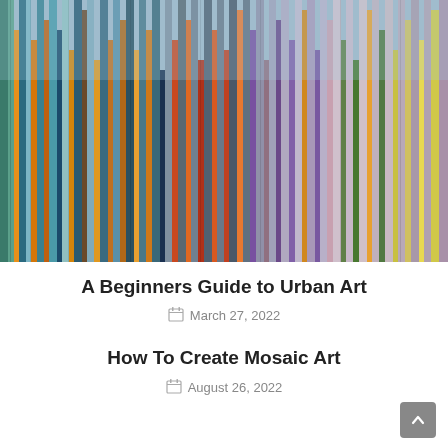[Figure (photo): Colorful vertical strips of stained glass or tiles in blues, teals, purples, oranges, reds, and yellows, creating an abstract mosaic/urban art pattern]
A Beginners Guide to Urban Art
March 27, 2022
How To Create Mosaic Art
August 26, 2022